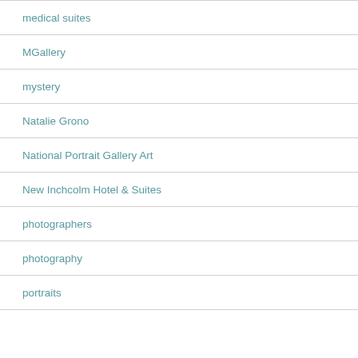medical suites
MGallery
mystery
Natalie Grono
National Portrait Gallery Art
New Inchcolm Hotel & Suites
photographers
photography
portraits